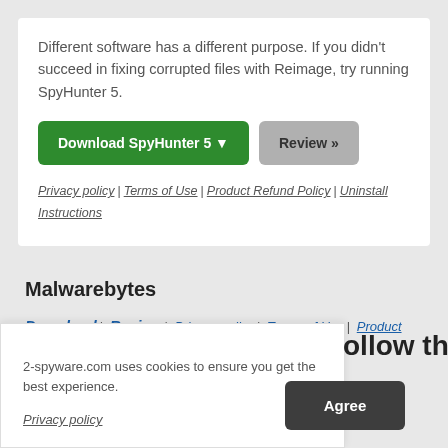Different software has a different purpose. If you didn't succeed in fixing corrupted files with Reimage, try running SpyHunter 5.
Download SpyHunter 5 ▼  |  Review »
Privacy policy | Terms of Use | Product Refund Policy | Uninstall Instructions
Malwarebytes
Download | Review | Privacy policy | Terms of Use | Product Refund Policy | Uninstall Instructions
2-spyware.com uses cookies to ensure you get the best experience.
Privacy policy
Agree
ollow these